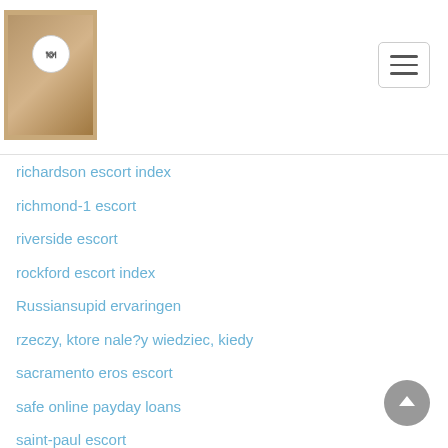Website navigation header with logo and hamburger menu
richardson escort index
richmond-1 escort
riverside escort
rockford escort index
Russiansupid ervaringen
rzeczy, ktore nale?y wiedziec, kiedy
sacramento eros escort
safe online payday loans
saint-paul escort
salinas escort near me
same day online payday loans